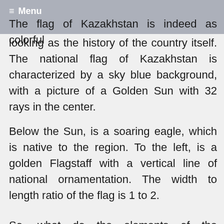≡ Menu
The flag of Kazakhstan is indeed as colorful looking as the history of the country itself. The national flag of Kazakhstan is characterized by a sky blue background, with a picture of a Golden Sun with 32 rays in the center.
Below the Sun, is a soaring eagle, which is native to the region. To the left, is a golden Flagstaff with a vertical line of national ornamentation. The width to length ratio of the flag is 1 to 2.
So, what do the elements of the Kazakhstan flag mean? The solid blue background of the flag stands for peace and unity of the people living in the nation. The blue color is meant to